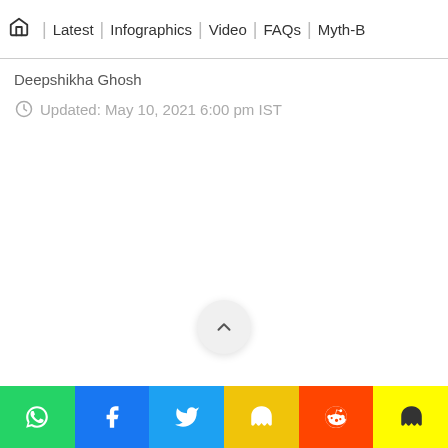🏠 | Latest | Infographics | Video | FAQs | Myth-B
Deepshikha Ghosh
Updated: May 10, 2021 6:00 pm IST
[Figure (other): Scroll to top button — circular button with upward chevron arrow]
[Figure (other): Social share buttons row: WhatsApp (green), Facebook (blue), Twitter (light blue), unknown (yellow), Reddit (orange-red), Snapchat (yellow)]